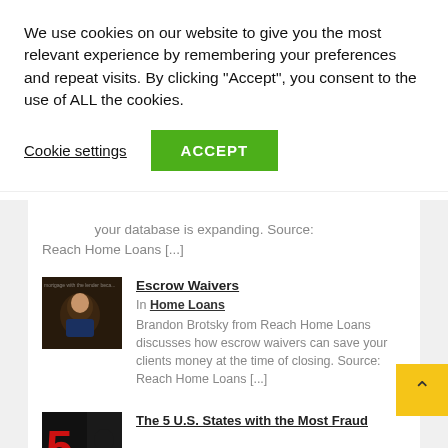We use cookies on our website to give you the most relevant experience by remembering your preferences and repeat visits. By clicking “Accept”, you consent to the use of ALL the cookies.
Cookie settings  ACCEPT
your database is expanding. Source: Reach Home Loans [...]
[Figure (photo): Thumbnail image of a person in a car, associated with Escrow Waivers article]
Escrow Waivers
In Home Loans
Brandon Brotsky from Reach Home Loans discusses how escrow waivers can save your clients money at the time of closing. Source: Reach Home Loans [...]
[Figure (photo): Thumbnail image associated with The 5 U.S. States with the Most Fraud article, showing a red number 5 on dark background]
The 5 U.S. States with the Most Fraud